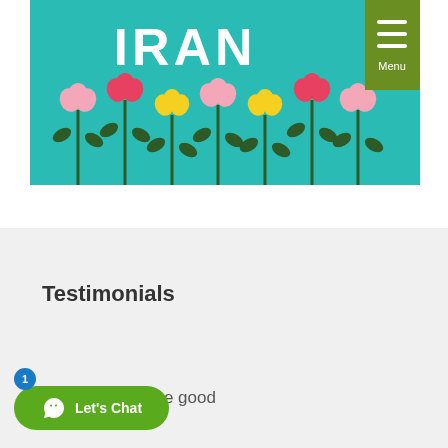[Figure (illustration): Website header banner with teal background showing colorful illustrated flowers (pink, red, yellow) on dark green stems with leaves, and bold white text reading 'IRAN' at the top. An olive-green menu button with three white horizontal bars and 'Menu' label is in the top right corner.]
Testimonials
All the guides are good
[Figure (infographic): WhatsApp-style chat button: green rounded rectangle with white phone/chat icon and text 'Let's Chat'. A blue circular badge with the number 1 appears above the button.]